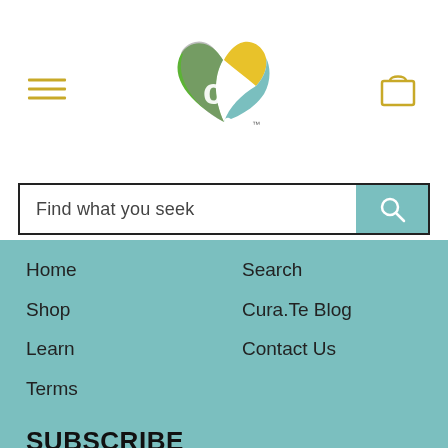[Figure (logo): Colorful heart-shaped logo with letters 'ct' inside, green, yellow, teal and gray segments, with TM mark]
[Figure (illustration): Hamburger menu icon (three horizontal yellow lines)]
[Figure (illustration): Shopping bag icon in yellow outline]
Find what you seek
Home
Shop
Learn
Terms
Search
Cura.Te Blog
Contact Us
SUBSCRIBE
Sign up for our weekly newsletter (where we send super-duper goodies!)